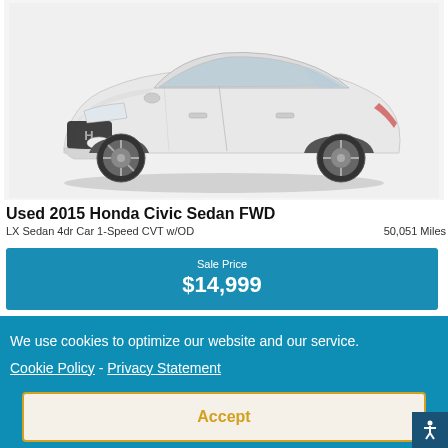[Figure (photo): White 2015 Honda Civic Sedan FWD photographed from a front three-quarter angle on a white background]
Used 2015 Honda Civic Sedan FWD
LX Sedan 4dr Car 1-Speed CVT w/OD   50,051 Miles
Sale Price
$14,999
We use cookies to optimize our website and our service.
Cookie Policy - Privacy Statement
Accept